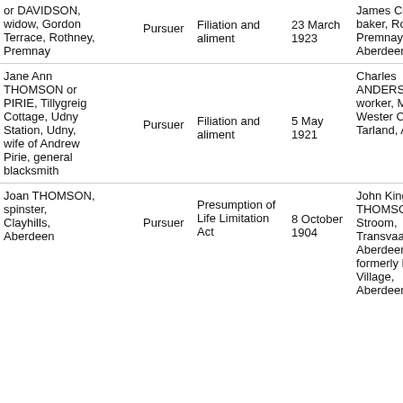| Pursuer/Defender Name | Role | Cause | Date | Defender/Other Party |
| --- | --- | --- | --- | --- |
| or DAVIDSON, widow, Gordon Terrace, Rothney, Premnay | Pursuer | Filiation and aliment | 23 March 1923 | James COUTTS baker, Rothney, Premnay, Aberdeenshire |
| Jane Ann THOMSON or PIRIE, Tillygreig Cottage, Udny Station, Udny, wife of Andrew Pirie, general blacksmith | Pursuer | Filiation and aliment | 5 May 1921 | Charles ANDERSON, farm worker, Mill of Wester Coull, Tarland, Aboyne |
| Joan THOMSON, spinster, Clayhills, Aberdeen | Pursuer | Presumption of Life Limitation Act | 8 October 1904 | John King THOMSON, M W Stroom, Transvaal, Aberdeen, formerly Dee Village, Aberdeen, Bor |